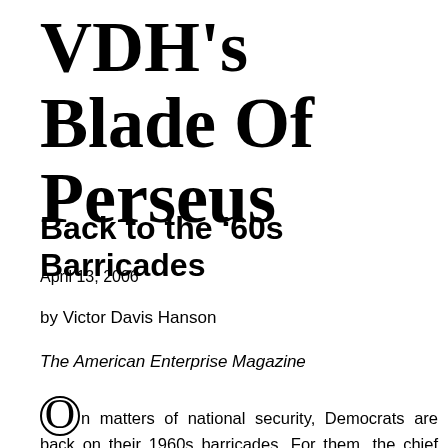VDH's Blade Of Perseus
Back to the ’60s Barricades
April 13, 2006
by Victor Davis Hanson
The American Enterprise Magazine
On matters of national security, Democrats are back on their 1960s barricades. For them, the chief dangers to the United States lie not abroad but at home, within our own government — specifically, unaccountable law